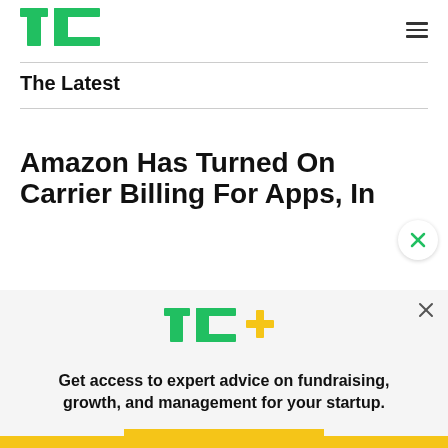TechCrunch
The Latest
Amazon Has Turned On Carrier Billing For Apps, In
[Figure (logo): TechCrunch TC+ logo in green with yellow plus sign]
Get access to expert advice on fundraising, growth, and management for your startup.
EXPLORE NOW